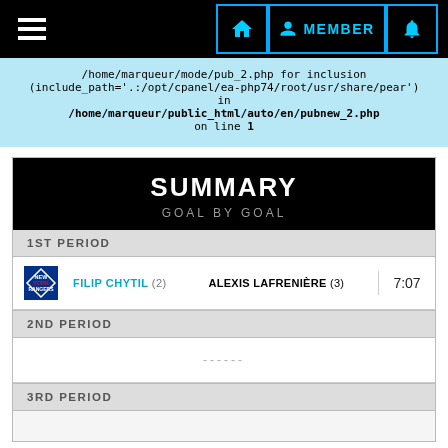Navigation bar with hamburger menu, home icon, MEMBER button, and bell icon
/home/marqueur/mode/pub_2.php for inclusion (include_path='.:/opt/cpanel/ea-php74/root/usr/share/pear') in /home/marqueur/public_html/auto/en/pubnew_2.php on line 1
SUMMARY
GOAL BY GOAL
1ST PERIOD
| Team | Scorer | Assist | Time |
| --- | --- | --- | --- |
| NYR | FILIP CHYTIL (2) | ALEXIS LAFRENIÈRE (3) | 7:07 |
2ND PERIOD
------
3RD PERIOD